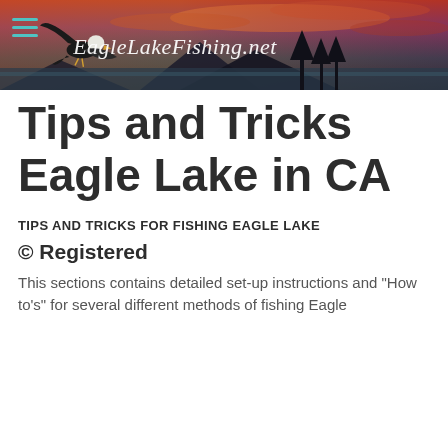[Figure (photo): EagleLakeFishing.net website header banner with a bald eagle in flight against a dramatic sunset sky over a lake with mountains, and the site name in cursive script]
Tips and Tricks Eagle Lake in CA
TIPS AND TRICKS FOR FISHING EAGLE LAKE
© Registered
This sections contains detailed set-up instructions and "How to's" for several different methods of fishing Eagle